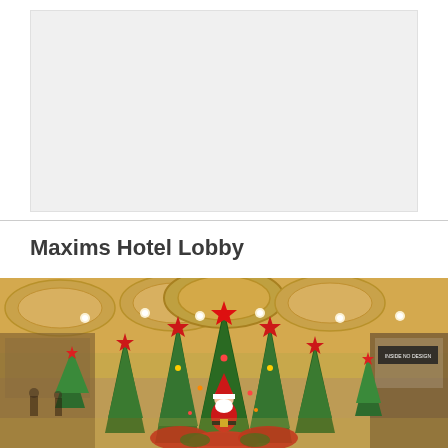[Figure (photo): Light gray placeholder image area at top of page]
Maxims Hotel Lobby
[Figure (photo): Photo of Maxims Hotel Lobby decorated for Christmas with multiple tall decorated Christmas trees topped with red stars, a Santa Claus figurine in the center, red poinsettia flowers at the base, and an ornate gold coffered ceiling with recessed lighting.]